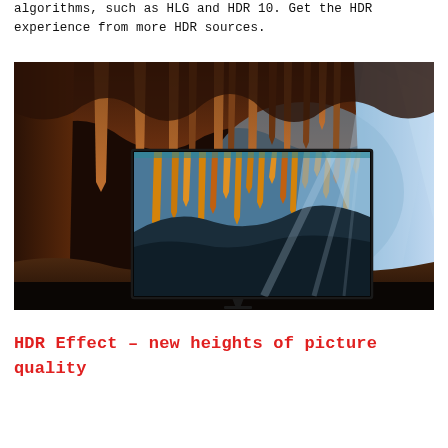algorithms, such as HLG and HDR 10. Get the HDR experience from more HDR sources.
[Figure (photo): A photograph of a cave interior with stalactites hanging from the ceiling. A flat-screen TV is positioned inside the cave, displaying the same cave scene with vibrant, high-dynamic-range colors including golden stalactites and blue sky rays of light.]
HDR Effect – new heights of picture quality